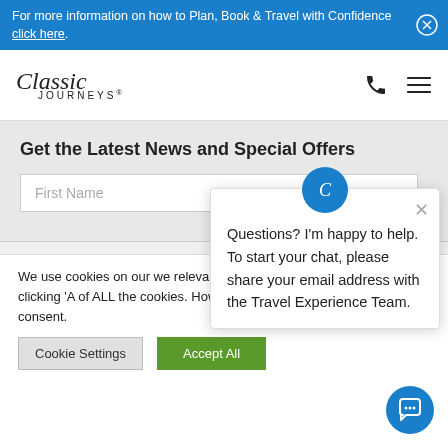For more information on how to Plan, Book & Travel with Confidence click here.
[Figure (logo): Classic Journeys logo with script and sans-serif text]
Get the Latest News and Special Offers
First Name
We use cookies on our w... relevant experience by re... repeat visits. By clicking '... of ALL the cookies. Howe... Settings" to provide a controlled consent.
Cookie Settings  Accept All
[Figure (screenshot): Chat popup with blue avatar icon and message: Questions? I'm happy to help. To start your chat, please share your email address with the Travel Experience Team.]